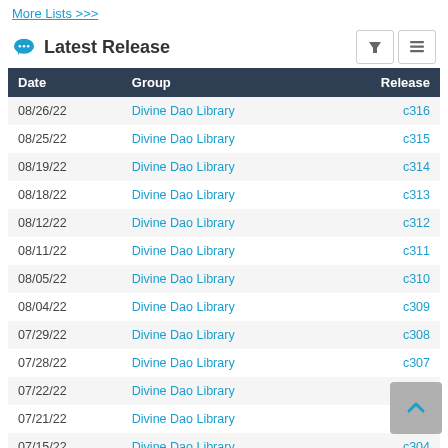More Lists >>>
Latest Release
| Date | Group | Release |
| --- | --- | --- |
| 08/26/22 | Divine Dao Library | c316 |
| 08/25/22 | Divine Dao Library | c315 |
| 08/19/22 | Divine Dao Library | c314 |
| 08/18/22 | Divine Dao Library | c313 |
| 08/12/22 | Divine Dao Library | c312 |
| 08/11/22 | Divine Dao Library | c311 |
| 08/05/22 | Divine Dao Library | c310 |
| 08/04/22 | Divine Dao Library | c309 |
| 07/29/22 | Divine Dao Library | c308 |
| 07/28/22 | Divine Dao Library | c307 |
| 07/22/22 | Divine Dao Library | c306 |
| 07/21/22 | Divine Dao Library | c305 |
| 07/15/22 | Divine Dao Library | c304 |
| 07/14/22 | Divine Dao Library | c303 |
| 07/08/22 | Divine Dao Library | c302 |